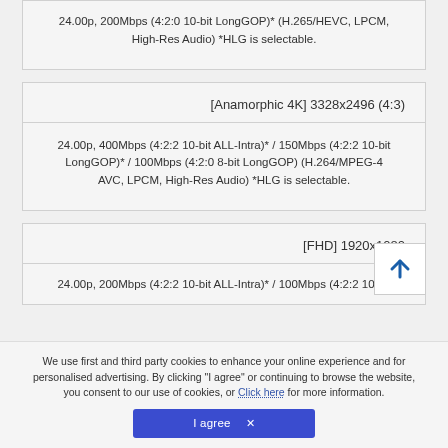24.00p, 200Mbps (4:2:0 10-bit LongGOP)* (H.265/HEVC, LPCM, High-Res Audio) *HLG is selectable.
[Anamorphic 4K] 3328x2496 (4:3)
24.00p, 400Mbps (4:2:2 10-bit ALL-Intra)* / 150Mbps (4:2:2 10-bit LongGOP)* / 100Mbps (4:2:0 8-bit LongGOP) (H.264/MPEG-4 AVC, LPCM, High-Res Audio) *HLG is selectable.
[FHD] 1920x1080
24.00p, 200Mbps (4:2:2 10-bit ALL-Intra)* / 100Mbps (4:2:2 10-bit...
We use first and third party cookies to enhance your online experience and for personalised advertising. By clicking “I agree” or continuing to browse the website, you consent to our use of cookies, or Click here for more information.
I agree ×